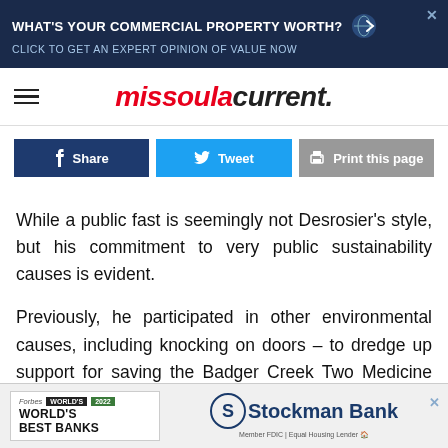[Figure (infographic): Top banner advertisement: dark navy background, text 'WHAT'S YOUR COMMERCIAL PROPERTY WORTH?' in white bold uppercase, subtitle 'CLICK TO GET AN EXPERT OPINION OF VALUE NOW' in light blue, with a globe/arrow icon and close X button]
missoula current.
[Figure (infographic): Social sharing buttons row: Facebook Share (dark blue), Twitter Tweet (light blue), Print this page (gray)]
While a public fast is seemingly not Desrosier's style, but his commitment to very public sustainability causes is evident.
Previously, he participated in other environmental causes, including knocking on doors – to dredge up support for saving the Badger Creek Two Medicine area from the Trump
[Figure (infographic): Bottom banner advertisement: Forbes World's Best Banks 2022 logo on left, Stockman Bank logo on right with Member FDIC | Equal Housing Lender text and close X button]